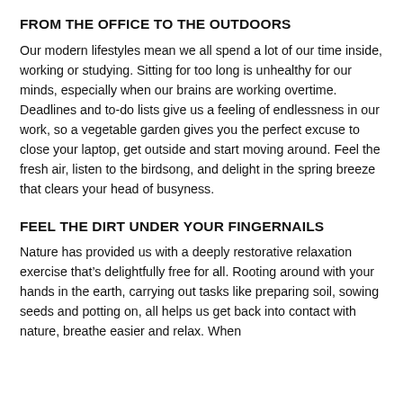FROM THE OFFICE TO THE OUTDOORS
Our modern lifestyles mean we all spend a lot of our time inside, working or studying. Sitting for too long is unhealthy for our minds, especially when our brains are working overtime. Deadlines and to-do lists give us a feeling of endlessness in our work, so a vegetable garden gives you the perfect excuse to close your laptop, get outside and start moving around. Feel the fresh air, listen to the birdsong, and delight in the spring breeze that clears your head of busyness.
FEEL THE DIRT UNDER YOUR FINGERNAILS
Nature has provided us with a deeply restorative relaxation exercise that’s delightfully free for all. Rooting around with your hands in the earth, carrying out tasks like preparing soil, sowing seeds and potting on, all helps us get back into contact with nature, breathe easier and relax. When